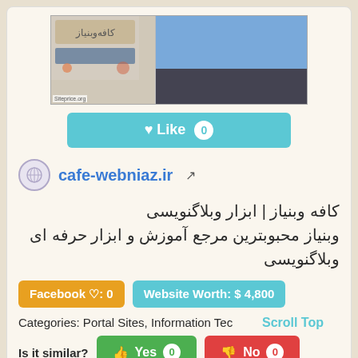[Figure (screenshot): Screenshot of cafe-webniaz.ir website thumbnail with Siteprice.org watermark]
♥ Like 0
cafe-webniaz.ir
کافه وبنیاز | ابزار وبلاگنویسی
وبنیاز محبوبترین مرجع آموزش و ابزار حرفه ای وبلاگنویسی
Facebook ♡: 0
Website Worth: $ 4,800
Categories: Portal Sites, Information Tec
Scroll Top
Is it similar?
👍 Yes 0
👎 No 0
[Figure (screenshot): Partial screenshot of another website at bottom of page]